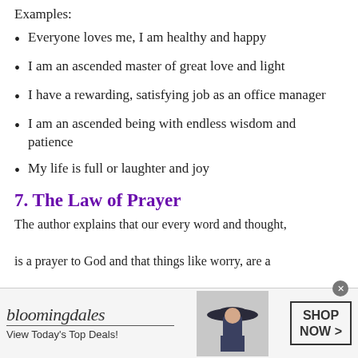Examples:
Everyone loves me, I am healthy and happy
I am an ascended master of great love and light
I have a rewarding, satisfying job as an office manager
I am an ascended being with endless wisdom and patience
My life is full or laughter and joy
7. The Law of Prayer
The author explains that our every word and thought, is a prayer to God and that things like worry, are a
[Figure (screenshot): Bloomingdale's advertisement banner: logo with italic text 'bloomingdales', tagline 'View Today's Top Deals!', woman in large hat image, and 'SHOP NOW >' button]